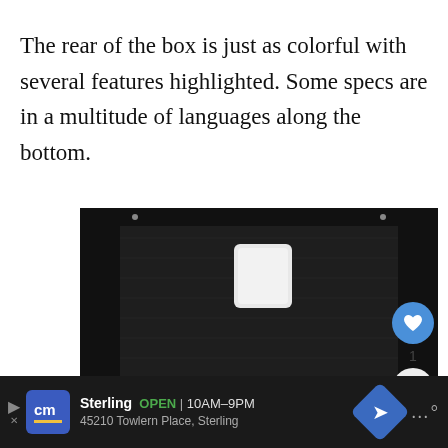The rear of the box is just as colorful with several features highlighted. Some specs are in a multitude of languages along the bottom.
[Figure (photo): Interior view of an open black box with a white square window/opening visible in the center, purple accents visible at the bottom edge. Social action buttons (heart/like and share) visible on the right side.]
Sterling  OPEN  10AM-9PM  45210 Towlern Place, Sterling